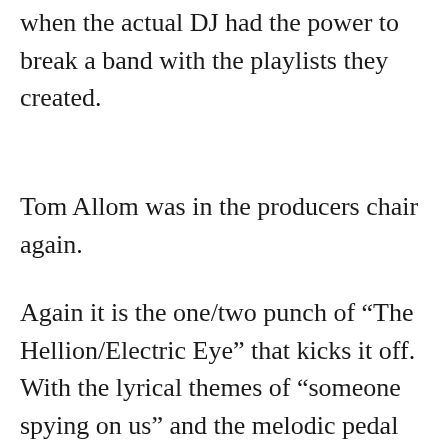when the actual DJ had the power to break a band with the playlists they created.
Tom Allom was in the producers chair again.
Again it is the one/two punch of “The Hellion/Electric Eye” that kicks it off. With the lyrical themes of “someone spying on us” and the melodic pedal point riff, you can easily place this song as a parent to the thrash movement.
The whole Orwellian “1984” theme of spy satellites and the invasion of